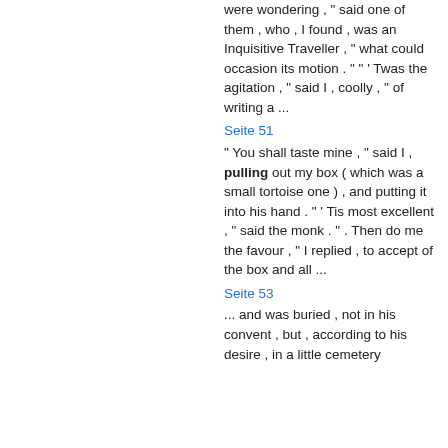were wondering , " said one of them , who , I found , was an Inquisitive Traveller , " what could occasion its motion . " " ' Twas the agitation , " said I , coolly , " of writing a ...
Seite 51
" You shall taste mine , " said I , pulling out my box ( which was a small tortoise one ) , and putting it into his hand . " ' Tis most excellent , " said the monk . " . Then do me the favour , " I replied , to accept of the box and all ...
Seite 53
... and was buried , not in his convent , but , according to his desire , in a little cemetery